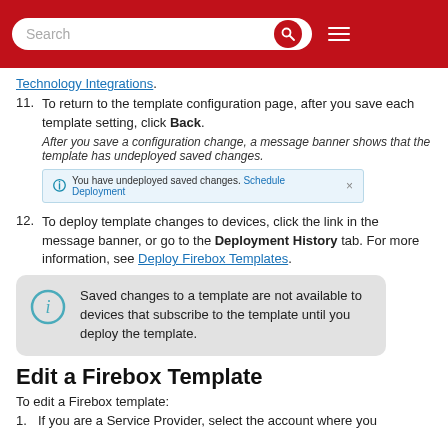Search
To return to the template configuration page, after you save each template setting, click Back. After you save a configuration change, a message banner shows that the template has undeployed saved changes.
[Figure (screenshot): Info banner showing: You have undeployed saved changes. Schedule Deployment. with a close button.]
To deploy template changes to devices, click the link in the message banner, or go to the Deployment History tab. For more information, see Deploy Firebox Templates.
Saved changes to a template are not available to devices that subscribe to the template until you deploy the template.
Edit a Firebox Template
To edit a Firebox template:
If you are a Service Provider, select the account where you